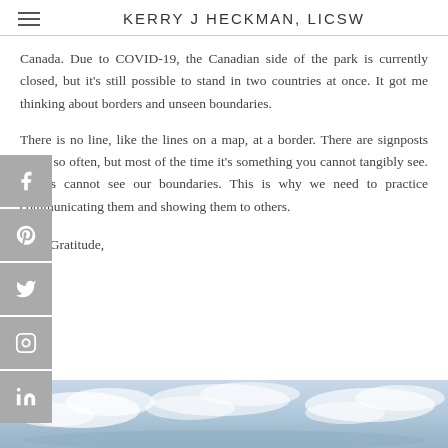KERRY J HECKMAN, LICSW
Canada. Due to COVID-19, the Canadian side of the park is currently closed, but it's still possible to stand in two countries at once. It got me thinking about borders and unseen boundaries.
There is no line, like the lines on a map, at a border. There are signposts every so often, but most of the time it's something you cannot tangibly see. Others cannot see our boundaries. This is why we need to practice communicating them and showing them to others.
With Gratitude,
Kerry
[Figure (photo): Sky with clouds — light blue sky with scattered white clouds, partial view at bottom of page]